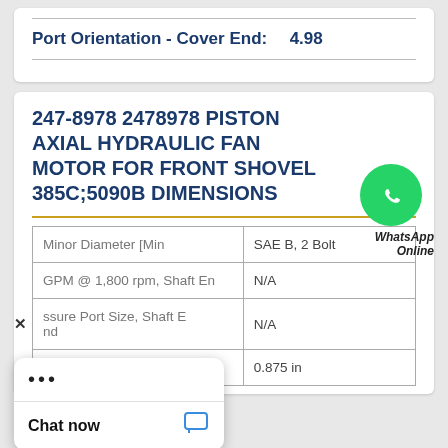Port Orientation - Cover End:    4.98
247-8978 2478978 PISTON AXIAL HYDRAULIC FAN MOTOR FOR FRONT SHOVEL 385C;5090B DIMENSIONS
| Parameter | Value |
| --- | --- |
| Minor Diameter [Min | SAE B, 2 Bolt |
| GPM @ 1,800 rpm, Shaft En... | N/A |
| ...sure Port Size, Shaft End | N/A |
|  | 0.875 in |